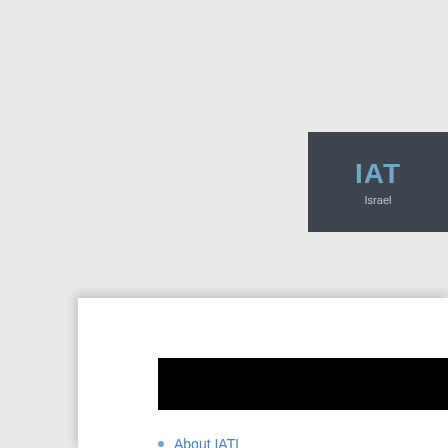[Figure (logo): IATL dark header box with blue logo text and 'Israel' subtext]
[Figure (other): Black redacted/censored horizontal bar covering text]
IAT
We a for Th Unive and a
About IATL
News
Conferences